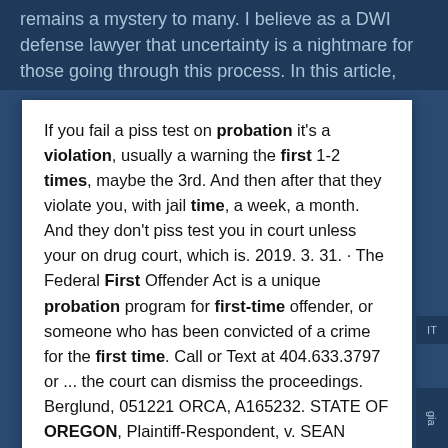remains a mystery to many. I believe as a DWI defense lawyer that uncertainty is a nightmare for those going through this process. In this article, Part 2, I will detail
If you fail a piss test on probation it's a violation, usually a warning the first 1-2 times, maybe the 3rd. And then after that they violate you, with jail time, a week, a month. And they don't piss test you in court unless your on drug court, which is. 2019. 3. 31. · The Federal First Offender Act is a unique probation program for first-time offender, or someone who has been convicted of a crime for the first time. Call or Text at 404.633.3797 or ... the court can dismiss the proceedings. Berglund, 051221 ORCA, A165232. STATE OF OREGON, Plaintiff-Respondent, v. SEAN TAYLOR BERGLUND, Defendant-Appellant. Sarah De La Cruz, Deputy Public Defender, argued the cause for the appellant. Also on the brief was Ernest G. Lannet, Chief Defender, Criminal Appellate Section, Offce of Public Defense Services.